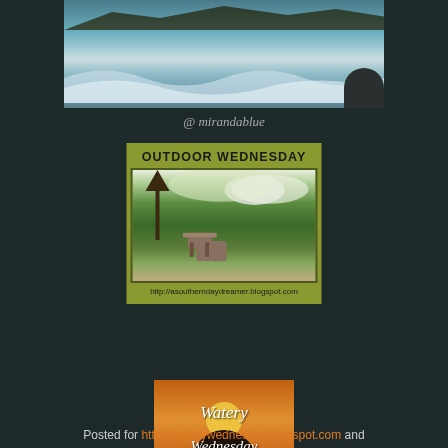[Figure (photo): Ocean scene with rocky coastline, waves, and blue-green water viewed from above]
@ mirandablue
[Figure (illustration): Outdoor Wednesday badge — olive/khaki colored badge with text 'OUTDOOR WEDNESDAY' and a photo of a garden with bench, flowering trees, and lush greenery. URL: http://asoutherndaydreamer.blogspot.com]
[Figure (illustration): Watery Wednesday badge — sunset/orange background with silhouette, text 'Watery Wednesday' in white italic script]
Posted for http://waterywednesday.blogspot.com and